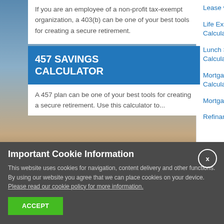If you are an employee of a non-profit tax-exempt organization, a 403(b) can be one of your best tools for creating a secure retirement.
457 SAVINGS CALCULATOR
A 457 plan can be one of your best tools for creating a secure retirement. Use this calculator to...
Lease vs. Buy
Life Expectancy Calculator
Lunch Savings Calculator
Mortgage Loan Calculator
Mortgage Payoff
Refinance Breakeven
Important Cookie Information
This website uses cookies for navigation, content delivery and other functions. By using our website you agree that we can place cookies on your device. Please read our cookie policy for more information.